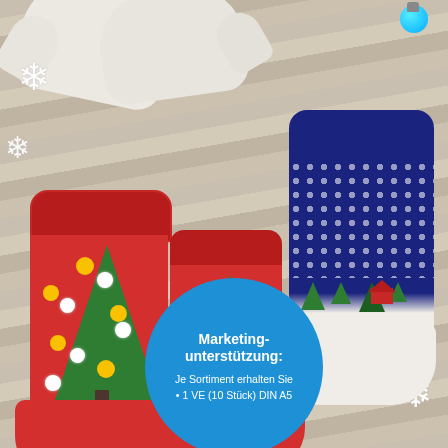[Figure (photo): Christmas socks and mittens on a wooden floor background with snowflake decorations. Two red socks with green Christmas tree motifs and colorful pom poms (yellow and white), one blue and white winter scene sock, and white mittens at the top. White snowflake ornaments scattered around.]
Marketing-unterstützung:
Je Sortiment erhalten Sie
• 1 VE (10 Stück) DIN A5